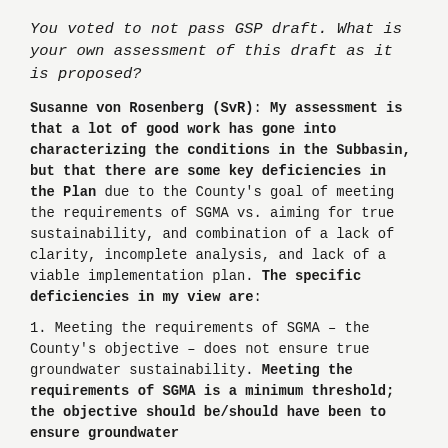You voted to not pass GSP draft. What is your own assessment of this draft as it is proposed?
Susanne von Rosenberg (SvR): My assessment is that a lot of good work has gone into characterizing the conditions in the Subbasin, but that there are some key deficiencies in the Plan due to the County's goal of meeting the requirements of SGMA vs. aiming for true sustainability, and combination of a lack of clarity, incomplete analysis, and lack of a viable implementation plan. The specific deficiencies in my view are:
1. Meeting the requirements of SGMA – the County's objective – does not ensure true groundwater sustainability. Meeting the requirements of SGMA is a minimum threshold; the objective should be/should have been to ensure groundwater...